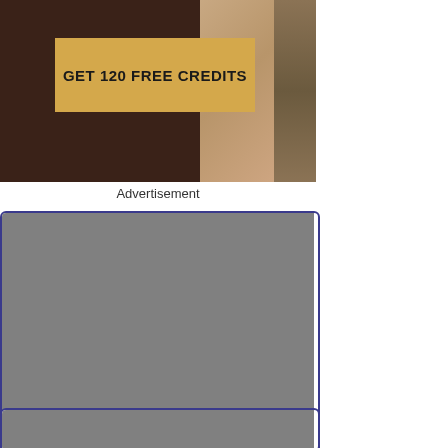[Figure (photo): Advertisement banner with dark background, a golden/yellow button overlay reading 'GET 120 FREE CREDITS', and a partial image of a person's legs on the right side]
Advertisement
[Figure (screenshot): Video thumbnail placeholder (gray rectangle) for a video titled 'Chloe Foster Boning In The Bed With..' with 2 views and duration 31:11]
[Figure (screenshot): Partial video thumbnail placeholder (gray rectangle) at bottom of page]